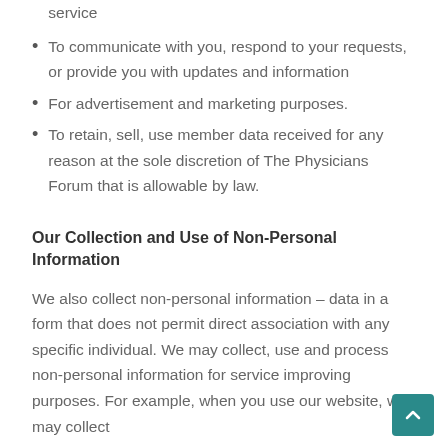To provide you with technical support or customer service
To communicate with you, respond to your requests, or provide you with updates and information
For advertisement and marketing purposes.
To retain, sell, use member data received for any reason at the sole discretion of The Physicians Forum that is allowable by law.
Our Collection and Use of Non-Personal Information
We also collect non-personal information – data in a form that does not permit direct association with any specific individual. We may collect, use and process non-personal information for service improving purposes. For example, when you use our website, we may collect